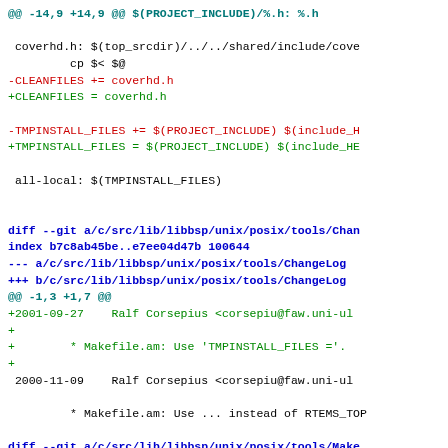[Figure (screenshot): Git diff output showing code changes in a source file, with diff headers in blue/bold, removed lines in red, added lines in green, and context lines in black monospace font.]